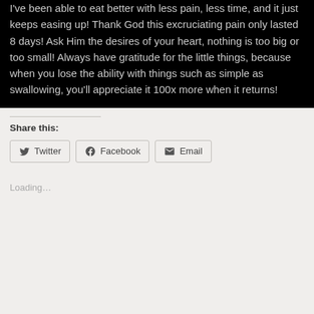I've been able to eat better with less pain, less time, and it just keeps easing up! Thank God this excruciating pain only lasted 8 days! Ask Him the desires of your heart, nothing is too big or too small! Always have gratitude for the little things, because when you lose the ability with things such as simple as swallowing, you'll appreciate it 100x more when it returns!
Share this:
Twitter
Facebook
Email
Loading...